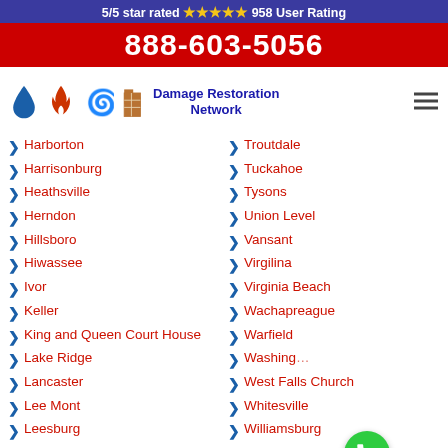5/5 star rated ★★★★★ 958 User Rating
888-603-5056
[Figure (logo): Damage Restoration Network logo with water drop, fire, hurricane, and building icons]
Harborton
Troutdale
Harrisonburg
Tuckahoe
Heathsville
Tysons
Herndon
Union Level
Hillsboro
Vansant
Hiwassee
Virgilina
Ivor
Virginia Beach
Keller
Wachapreague
King and Queen Court House
Warfield
Washington
Lake Ridge
West Falls Church
Lancaster
Whitesville
Lee Mont
Williamsburg
Leesburg
Winchester